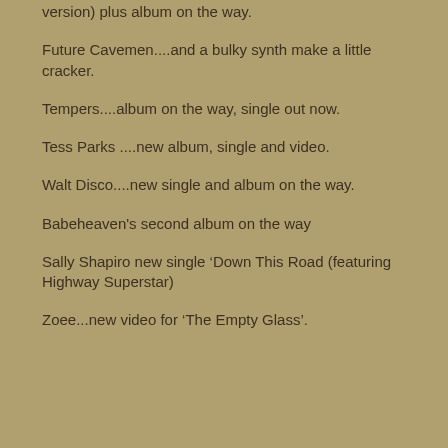version) plus album on the way.
Future Cavemen....and a bulky synth make a little cracker.
Tempers....album on the way, single out now.
Tess Parks ....new album, single and video.
Walt Disco....new single and album on the way.
Babeheaven's second album on the way
Sally Shapiro new single ‘Down This Road (featuring Highway Superstar)
Zoee...new video for ‘The Empty Glass’.